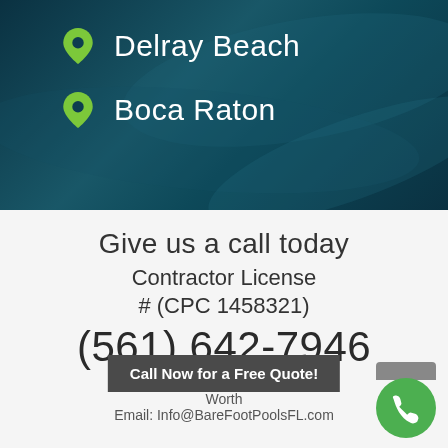[Figure (illustration): Dark teal pool water background with two green map pin icons and location names]
Delray Beach
Boca Raton
Give us a call today
Contractor License # (CPC 1458321)
(561) 642-7946
Address: 75... Worth
Email: Info@BareFootPoolsFL.com
Call Now for a Free Quote!